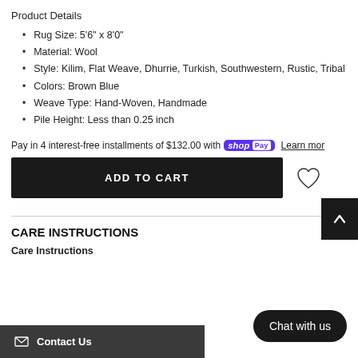Product Details
Rug Size: 5'6" x 8'0"
Material: Wool
Style: Kilim, Flat Weave, Dhurrie, Turkish, Southwestern, Rustic, Tribal
Colors: Brown Blue
Weave Type: Hand-Woven, Handmade
Pile Height: Less than 0.25 inch
Pay in 4 interest-free installments of $132.00 with shop Pay Learn more
ADD TO CART
CARE INSTRUCTIONS
Care Instructions
Chat with us
Contact Us